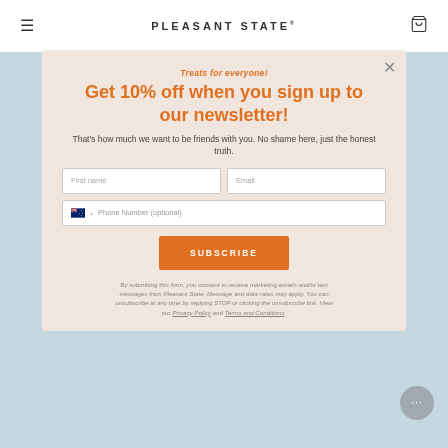PLEASANT STATE
Treats for everyone!
Get 10% off when you sign up to our newsletter!
That's how much we want to be friends with you. No shame here, just the honest truth.
First name | Email | Phone Number (optional)
SUBSCRIBE
By submitting this form, you consent to receive marketing emails and/or text messages from Pleasant State. Message and data rates may apply. You can unsubscribe at any time by replying STOP or clicking the unsubscribe link. View our Privacy Policy and Terms and Conditions.